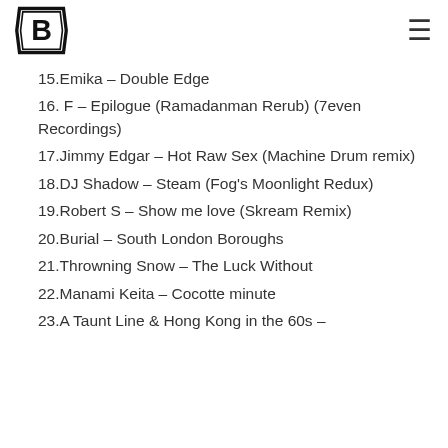B3 logo and navigation menu
15.Emika – Double Edge
16. F – Epilogue (Ramadanman Rerub) (7even Recordings)
17.Jimmy Edgar – Hot Raw Sex (Machine Drum remix)
18.DJ Shadow – Steam (Fog's Moonlight Redux)
19.Robert S – Show me love (Skream Remix)
20.Burial – South London Boroughs
21.Throwning Snow – The Luck Without
22.Manami Keita – Cocotte minute
23.A Taunt Line & Hong Kong in the 60s –